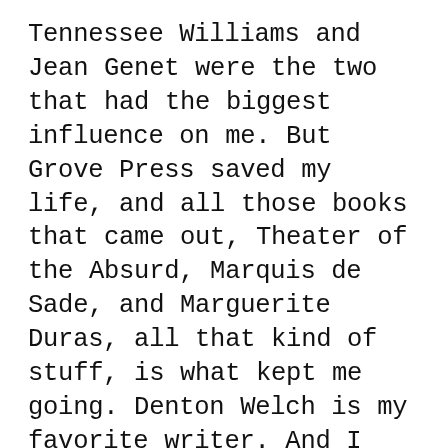Tennessee Williams and Jean Genet were the two that had the biggest influence on me. But Grove Press saved my life, and all those books that came out, Theater of the Absurd, Marquis de Sade, and Marguerite Duras, all that kind of stuff, is what kept me going. Denton Welch is my favorite writer. And I love Jane Bowles. I think Two Serious Ladies is the best novel ever written. So my role models are people that used humor in a twisted way, and invented their own style.
PURNELL: I totally vibe with that. I reconnected with Tennessee Williams